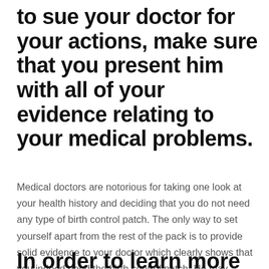to sue your doctor for your actions, make sure that you present him with all of your evidence relating to your medical problems.
Medical doctors are notorious for taking one look at your health history and deciding that you do not need any type of birth control patch. The only way to set yourself apart from the rest of the pack is to provide solid evidence to your doctor which clearly shows that you indeed need the birth control patch. He may decide to change his mind, but there is nothing wrong with you trying to put a halt to this lawsuit by proving your doctor wrong.
In order to learn more